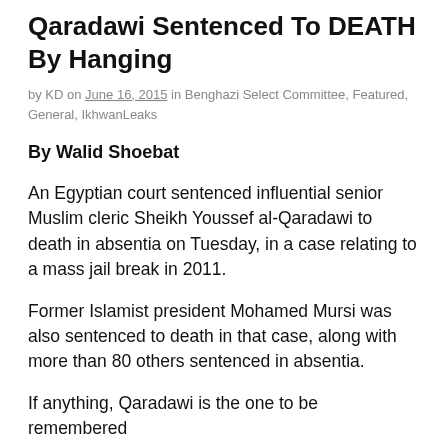Spiritual Leader Sheikh Youssef Al-Qaradawi Sentenced To DEATH By Hanging
by KD on June 16, 2015 in Benghazi Select Committee, Featured, General, IkhwanLeaks
By Walid Shoebat
An Egyptian court sentenced influential senior Muslim cleric Sheikh Youssef al-Qaradawi to death in absentia on Tuesday, in a case relating to a mass jail break in 2011.
Former Islamist president Mohamed Mursi was also sentenced to death in that case, along with more than 80 others sentenced in absentia.
If anything, Qaradawi is the one to be remembered